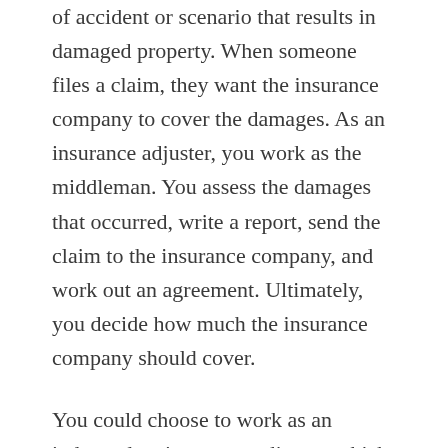of accident or scenario that results in damaged property. When someone files a claim, they want the insurance company to cover the damages. As an insurance adjuster, you work as the middleman. You assess the damages that occurred, write a report, send the claim to the insurance company, and work out an agreement. Ultimately, you decide how much the insurance company should cover.
You could choose to work as an independent insurance adjuster, which gives you a lot of flexibility with your time. You choose your own hours, which claims you want to work on, which tasks to do first, etc. But with freedom